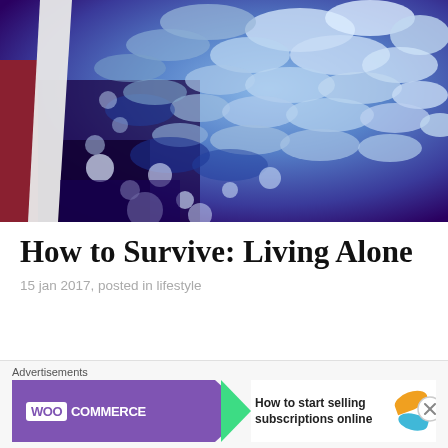[Figure (photo): Close-up photo of a blue and purple fluffy rug or textile, showing dark purple base with white and light blue fibres creating a mottled texture. A white stripe runs diagonally on the left side. Part of a red floor is visible at left edge.]
How to Survive: Living Alone
15 jan 2017, posted in lifestyle
Advertisements
[Figure (screenshot): WooCommerce advertisement banner. Purple background with WooCommerce logo (white box with purple WOO text, white COMMERCE text) and a green arrow pointing right. Text on right reads: How to start selling subscriptions online. Orange and blue decorative leaf shapes on far right.]